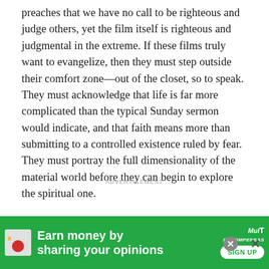preaches that we have no call to be righteous and judge others, yet the film itself is righteous and judgmental in the extreme. If these films truly want to evangelize, then they must step outside their comfort zone—out of the closet, so to speak. They must acknowledge that life is far more complicated than the typical Sunday sermon would indicate, and that faith means more than submitting to a controlled existence ruled by fear. They must portray the full dimensionality of the material world before they can begin to explore the spiritual one.
ADVERTISEMENT
FAMILY   DRAMA
[Figure (infographic): Advertisement banner: green background with Amazon logo, icon, text 'Earn money by sharing your opinions', MullT Recompensas branding, and a SIGN UP button. Close buttons visible.]